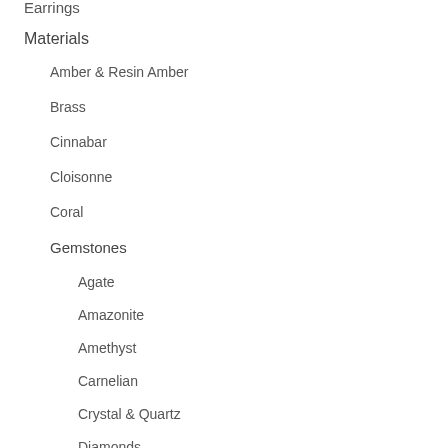Earrings
Materials
Amber & Resin Amber
Brass
Cinnabar
Cloisonne
Coral
Gemstones
Agate
Amazonite
Amethyst
Carnelian
Crystal & Quartz
Diamonds